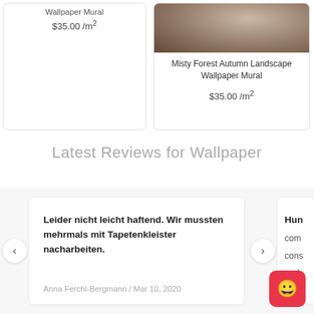Wallpaper Mural
$35.00 /m²
[Figure (photo): Photo of Misty Forest Autumn Landscape Wallpaper Mural showing bedroom scene with pillows]
Misty Forest Autumn Landscape Wallpaper Mural
$35.00 /m²
Latest Reviews for Wallpaper
Leider nicht leicht haftend. Wir mussten mehrmals mit Tapetenkleister nacharbeiten.
Anna Ferchl-Bergmann / Mar 10, 2020
Hun... com... cons and Laun...